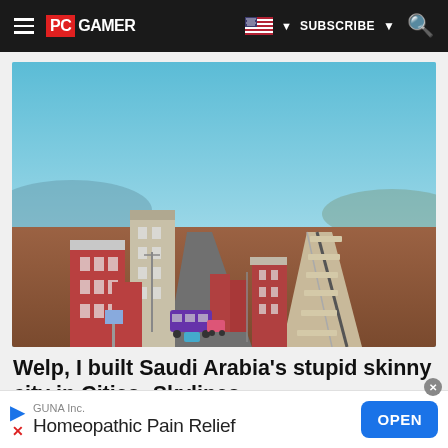PC GAMER | SUBSCRIBE | Search
[Figure (screenshot): Cities: Skylines game screenshot showing a long narrow city built along a straight road, with red brick apartment buildings on both sides, a purple bus, cars, street lights, and arid brown terrain. A rail line runs alongside the road. Blue sky with distant mountains.]
Welp, I built Saudi Arabia's stupid skinny city in Cities: Skylines
GUNA Inc. Homeopathic Pain Relief OPEN